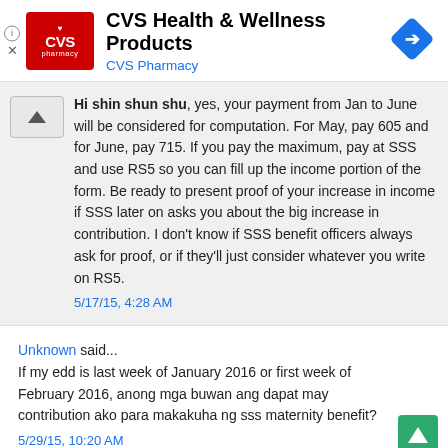[Figure (logo): CVS Health & Wellness Products advertisement banner with CVS Pharmacy logo and navigation icon]
Hi shin shun shu, yes, your payment from Jan to June will be considered for computation. For May, pay 605 and for June, pay 715. If you pay the maximum, pay at SSS and use RS5 so you can fill up the income portion of the form. Be ready to present proof of your increase in income if SSS later on asks you about the big increase in contribution. I don't know if SSS benefit officers always ask for proof, or if they'll just consider whatever you write on RS5.
5/17/15, 4:28 AM
Unknown said...
If my edd is last week of January 2016 or first week of February 2016, anong mga buwan ang dapat may contribution ako para makakuha ng sss maternity benefit?
5/29/15, 10:20 AM